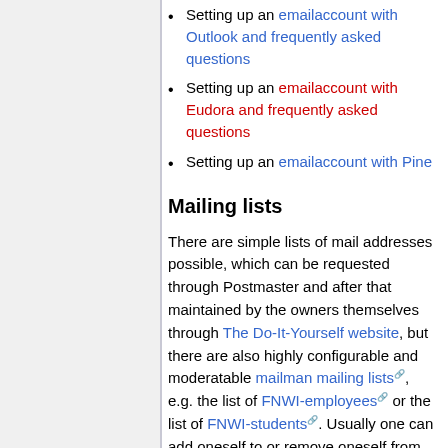Setting up an emailaccount with Outlook and frequently asked questions
Setting up an emailaccount with Eudora and frequently asked questions
Setting up an emailaccount with Pine
Mailing lists
There are simple lists of mail addresses possible, which can be requested through Postmaster and after that maintained by the owners themselves through The Do-It-Yourself website, but there are also highly configurable and moderatable mailman mailing lists, e.g. the list of FNWI-employees or the list of FNWI-students. Usually one can add oneself to or remove oneself from